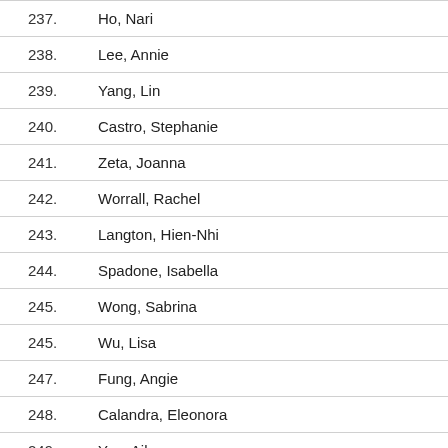237.  Ho, Nari
238.  Lee, Annie
239.  Yang, Lin
240.  Castro, Stephanie
241.  Zeta, Joanna
242.  Worrall, Rachel
243.  Langton, Hien-Nhi
244.  Spadone, Isabella
245.  Wong, Sabrina
245.  Wu, Lisa
247.  Fung, Angie
248.  Calandra, Eleonora
249.  Yep, Aiko
250.  Rashid, Saba
251.  Fong, Mira